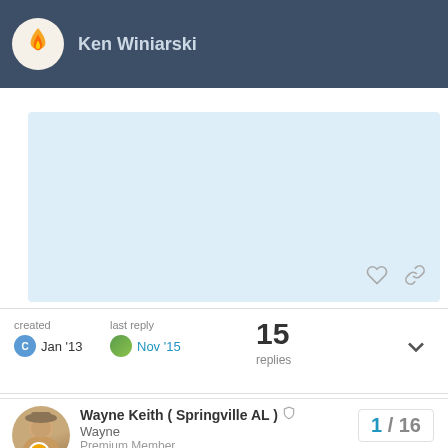Ken Winiarski
created Jan '13  last reply Nov '15  15 replies
Wayne Keith ( Springville AL ) Wayne Premium Member Jan '13
Hello Ken,

The only way I will cut ( burn ) into a gasoline , diesel or LP tank is to flush and fill and have it full of water before I do any cutting.

Also the above applies to any drum that has had any flammable material stored in it.
1 / 16